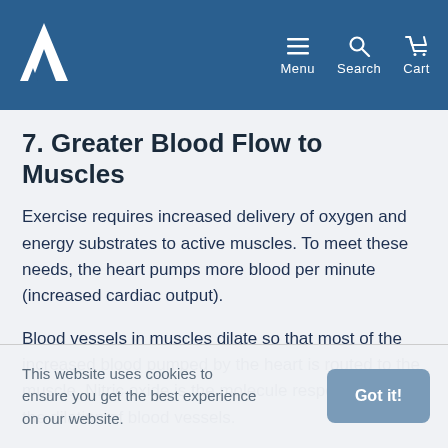Menu Search Cart
7. Greater Blood Flow to Muscles
Exercise requires increased delivery of oxygen and energy substrates to active muscles. To meet these needs, the heart pumps more blood per minute (increased cardiac output).
Blood vessels in muscles dilate so that most of the increased blood pumped by the heart is routed to the muscle. Nitric oxide is the molecule responsible for the dilation of blood vessels.
This website uses cookies to ensure you get the best experience on our website.